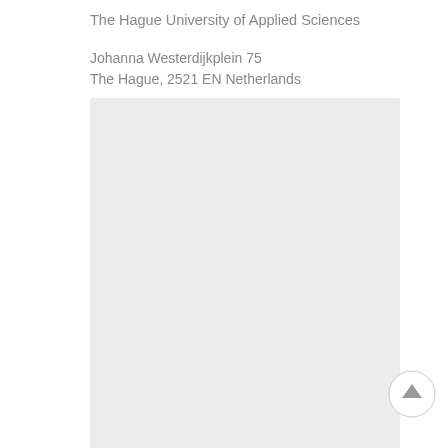The Hague University of Applied Sciences
Johanna Westerdijkplein 75
The Hague, 2521 EN Netherlands
[Figure (other): A large light gray rectangular placeholder box, likely representing a map or image of the institution location.]